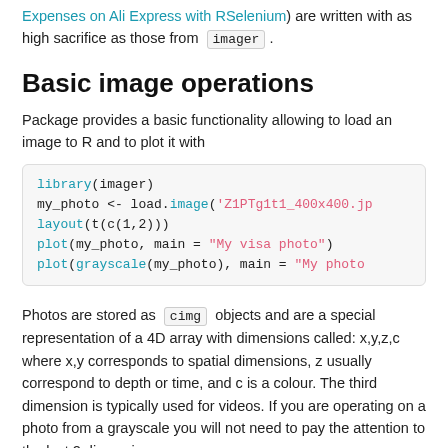Expenses on Ali Express with RSelenium) are written with as high sacrifice as those from imager .
Basic image operations
Package provides a basic functionality allowing to load an image to R and to plot it with
[Figure (screenshot): Code block showing R code: library(imager), my_photo <- load.image('Z1PTg1t1_400x400.jp..., layout(t(c(1,2))), plot(my_photo, main = "My visa photo"), plot(grayscale(my_photo), main = "My photo..."]
Photos are stored as cimg objects and are a special representation of a 4D array with dimensions called: x,y,z,c where x,y corresponds to spatial dimensions, z usually correspond to depth or time, and c is a colour. The third dimension is typically used for videos. If you are operating on a photo from a grayscale you will not need to pay the attention to the last 2 dimensions.